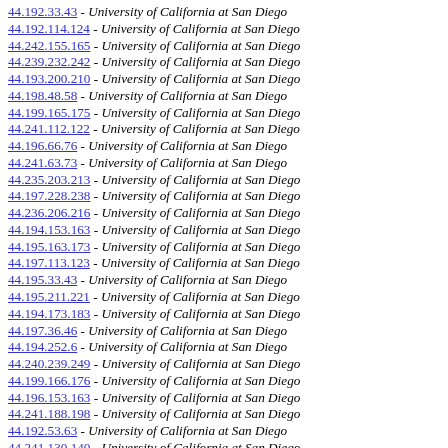44.192.33.43 - University of California at San Diego
44.192.114.124 - University of California at San Diego
44.242.155.165 - University of California at San Diego
44.239.232.242 - University of California at San Diego
44.193.200.210 - University of California at San Diego
44.198.48.58 - University of California at San Diego
44.199.165.175 - University of California at San Diego
44.241.112.122 - University of California at San Diego
44.196.66.76 - University of California at San Diego
44.241.63.73 - University of California at San Diego
44.235.203.213 - University of California at San Diego
44.197.228.238 - University of California at San Diego
44.236.206.216 - University of California at San Diego
44.194.153.163 - University of California at San Diego
44.195.163.173 - University of California at San Diego
44.197.113.123 - University of California at San Diego
44.195.33.43 - University of California at San Diego
44.195.211.221 - University of California at San Diego
44.194.173.183 - University of California at San Diego
44.197.36.46 - University of California at San Diego
44.194.252.6 - University of California at San Diego
44.240.239.249 - University of California at San Diego
44.199.166.176 - University of California at San Diego
44.196.153.163 - University of California at San Diego
44.241.188.198 - University of California at San Diego
44.192.53.63 - University of California at San Diego
44.241.130.140 - University of California at San Diego
44.195.157.167 - University of California at San Diego
44.197.69.79 - University of California at San Diego
44.237.203.213 - University of California at San Diego